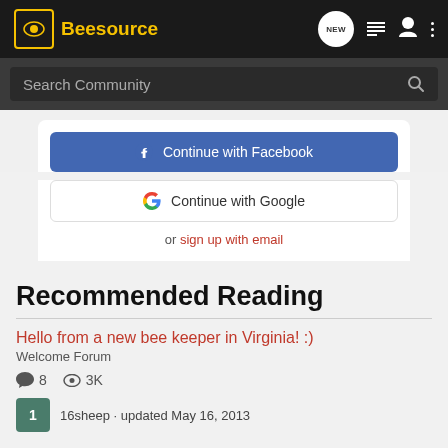Beesource
Search Community
[Figure (screenshot): Continue with Facebook button (partially visible, cropped)]
[Figure (screenshot): Continue with Google button with Google G logo]
or sign up with email
Recommended Reading
Hello from a new bee keeper in Virginia! :)
Welcome Forum
8   3K
16sheep · updated May 16, 2013